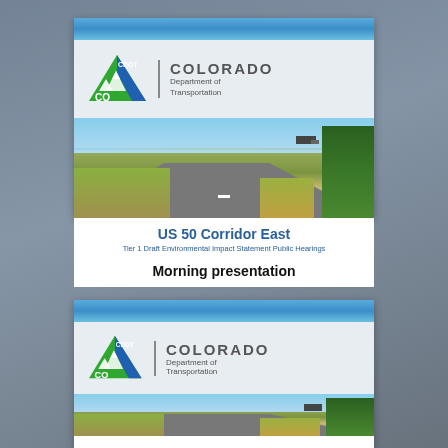[Figure (logo): CDOT Colorado Department of Transportation logo with mountain triangle icon, top slide]
[Figure (photo): Highway road photo showing US 50 corridor with flat plains, green grass, trees on right, blue sky]
US 50 Corridor East
Tier 1 Draft Environmental Impact Statement Public Hearings
Morning presentation
[Figure (logo): CDOT Colorado Department of Transportation logo, bottom slide]
[Figure (photo): Highway road photo partial, bottom slide]